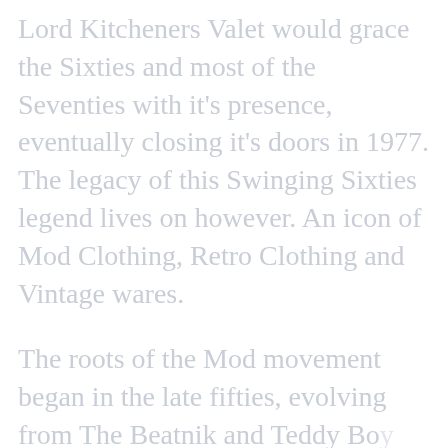Lord Kitcheners Valet would grace the Sixties and most of the Seventies with it's presence, eventually closing it's doors in 1977. The legacy of this Swinging Sixties legend lives on however. An icon of Mod Clothing, Retro Clothing and Vintage wares.
The roots of the Mod movement began in the late fifties, evolving from The Beatnik and Teddy Boy subcultures that had grown across the USA and Europe since the end of the Second World War. The affluent youth of the late fifties and early sixties found themselves in a unique position. The traditional victorian values were changing, the permissive society of the sixties had started and